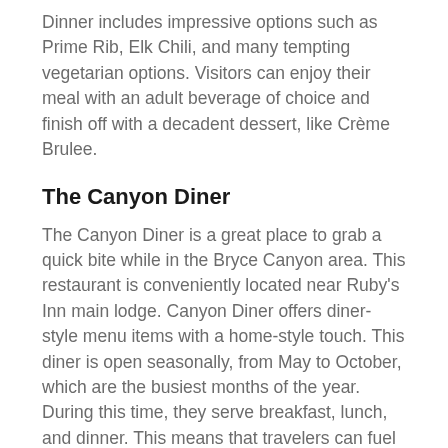Dinner includes impressive options such as Prime Rib, Elk Chili, and many tempting vegetarian options. Visitors can enjoy their meal with an adult beverage of choice and finish off with a decadent dessert, like Crème Brulee.
The Canyon Diner
The Canyon Diner is a great place to grab a quick bite while in the Bryce Canyon area. This restaurant is conveniently located near Ruby's Inn main lodge. Canyon Diner offers diner-style menu items with a home-style touch. This diner is open seasonally, from May to October, which are the busiest months of the year. During this time, they serve breakfast, lunch, and dinner. This means that travelers can fuel up before, during, and after their daily adventures.